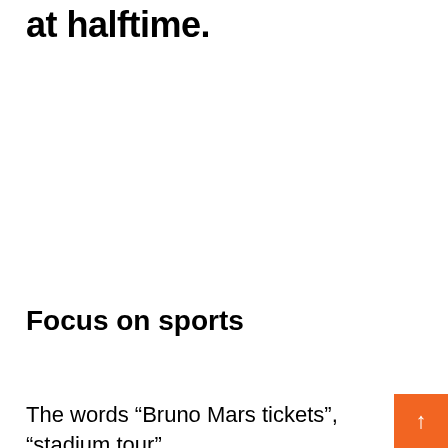at halftime.
Focus on sports
The words “Bruno Mars tickets”, “stadium tour”